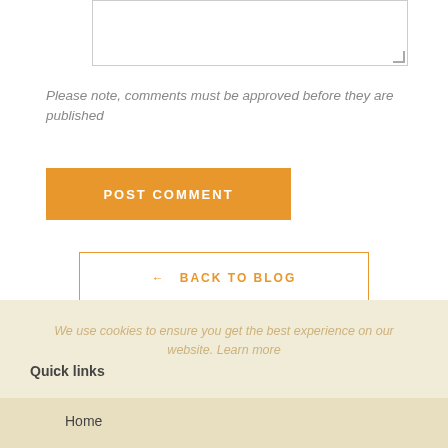[textarea input box]
Please note, comments must be approved before they are published
POST COMMENT
← BACK TO BLOG
We use cookies to ensure you get the best experience on our website. Learn more
Quick links
Home